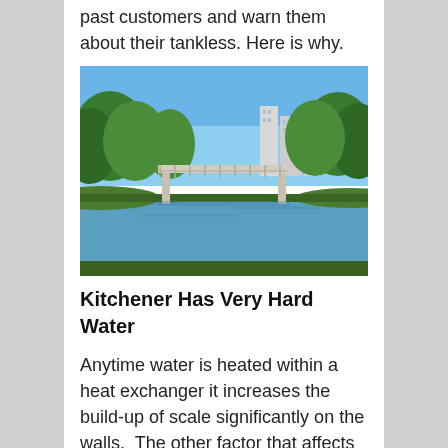past customers and warn them about their tankless. Here is why.
[Figure (photo): A scenic park scene with a decorative footbridge over a calm river or pond, surrounded by lush green trees and blue sky, with apartment buildings visible in the background.]
Kitchener Has Very Hard Water
Anytime water is heated within a heat exchanger it increases the build-up of scale significantly on the walls.  The other factor that affects build-